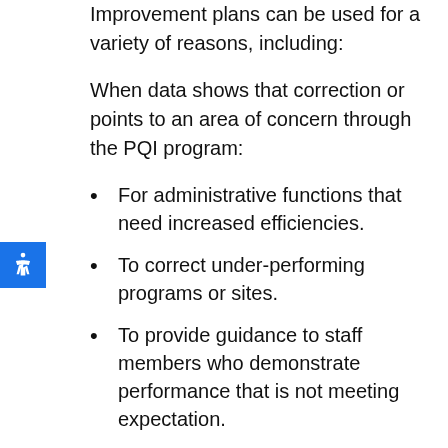Improvement plans can be used for a variety of reasons, including:
When data shows that correction or points to an area of concern through the PQI program:
For administrative functions that need increased efficiencies.
To correct under-performing programs or sites.
To provide guidance to staff members who demonstrate performance that is not meeting expectation.
For successful programs that an organization would like to develop